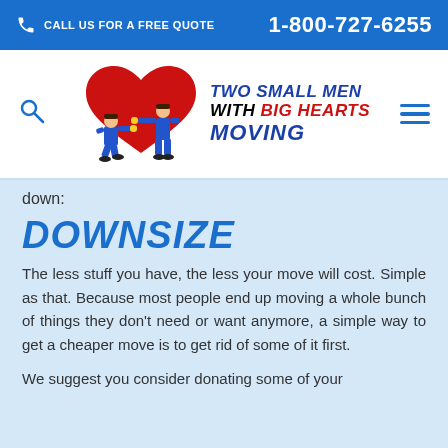CALL US FOR A FREE QUOTE  1-800-727-6255
[Figure (logo): Two Small Men With Big Hearts Moving company logo — two movers holding a large red heart, with company name in blue and red bold italic text]
down:
DOWNSIZE
The less stuff you have, the less your move will cost. Simple as that. Because most people end up moving a whole bunch of things they don't need or want anymore, a simple way to get a cheaper move is to get rid of some of it first.
We suggest you consider donating some of your